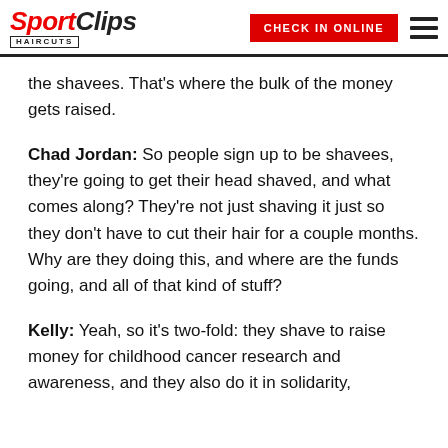Sport Clips Haircuts — CHECK IN ONLINE
the shavees. That's where the bulk of the money gets raised.
Chad Jordan: So people sign up to be shavees, they're going to get their head shaved, and what comes along? They're not just shaving it just so they don't have to cut their hair for a couple months. Why are they doing this, and where are the funds going, and all of that kind of stuff?
Kelly: Yeah, so it's two-fold: they shave to raise money for childhood cancer research and awareness, and they also do it in solidarity,